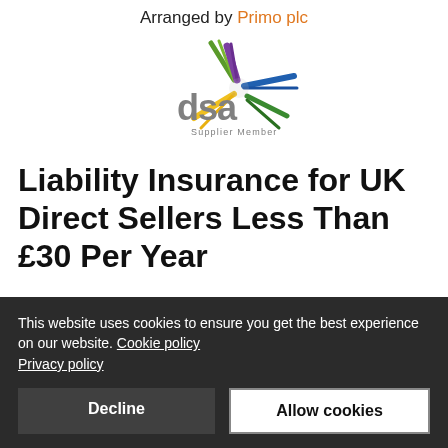Arranged by Primo plc
[Figure (logo): DSA Supplier Member logo with colourful starburst graphic and grey 'dsa' text]
Liability Insurance for UK Direct Sellers Less Than £30 Per Year
This website uses cookies to ensure you get the best experience on our website. Cookie policy Privacy policy
Decline
Allow cookies